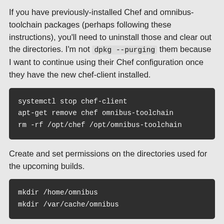If you have previously-installed Chef and omnibus-toolchain packages (perhaps following these instructions), you'll need to uninstall those and clear out the directories. I'm not dpkg --purging them because I want to continue using their Chef configuration once they have the new chef-client installed.
[Figure (other): Dark code block with monospace text: 'systemctl stop chef-client', 'apt-get remove chef omnibus-toolchain', 'rm -rf /opt/chef /opt/omnibus-toolchain']
Create and set permissions on the directories used for the upcoming builds.
[Figure (other): Dark code block with monospace text: 'mkdir /home/omnibus', 'mkdir /var/cache/omnibus']